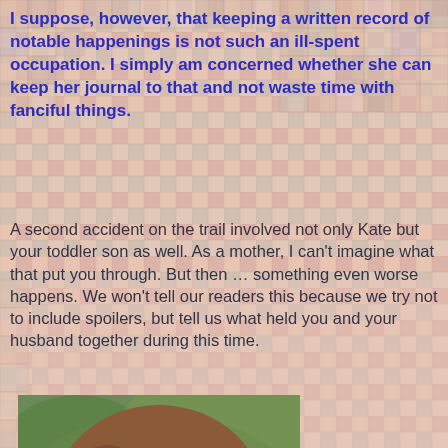[Figure (other): Quilt pattern background with pastel pink, peach, green, and floral squares arranged in a checkerboard-like grid covering the entire page.]
I suppose, however, that keeping a written record of notable happenings is not such an ill-spent occupation. I simply am concerned whether she can keep her journal to that and not waste time with fanciful things.
A second accident on the trail involved not only Kate but your toddler son as well. As a mother, I can't imagine what that put you through. But then … something even worse happens. We won't tell our readers this because we try not to include spoilers, but tell us what held you and your husband together during this time.
[Figure (photo): Portrait photo of a middle-aged woman with auburn/brown hair, smiling warmly, outdoors with green foliage in background.]